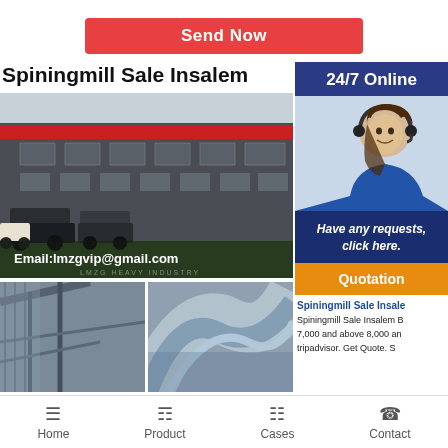Send Now
Spiningmill Sale Insalem
[Figure (photo): Factory building exterior with industrial machinery and trucks in foreground. Email:lmzgvip@gmail.com text overlay at bottom.]
[Figure (photo): Industrial structure with metal staircases and framework.]
[Figure (photo): Modern curved steel building or structure.]
[Figure (infographic): 24/7 Online chat widget with female customer service agent wearing headset, Have any requests, click here. message, and orange Quotation button.]
Spiningmill Sale Insalem
Spiningmill Sale Insalem B
7,000 and above 8,000 an
tripadvisor. Get Quote. S
Home    Product    Cases    Contact